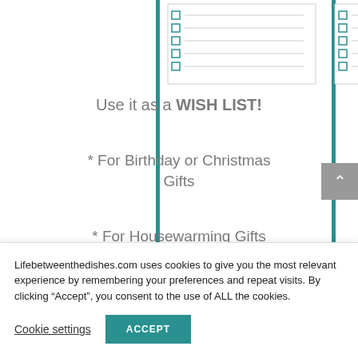[Figure (illustration): Two checklist/wish list template thumbnails side by side with teal checkboxes and ruled lines]
Use it as a WISH LIST!
* For Birthday or Christmas Gifts
* For Housewarming Gifts
* For College Apartment
Lifebetweenthedishes.com uses cookies to give you the most relevant experience by remembering your preferences and repeat visits. By clicking “Accept”, you consent to the use of ALL the cookies.
Cookie settings
ACCEPT